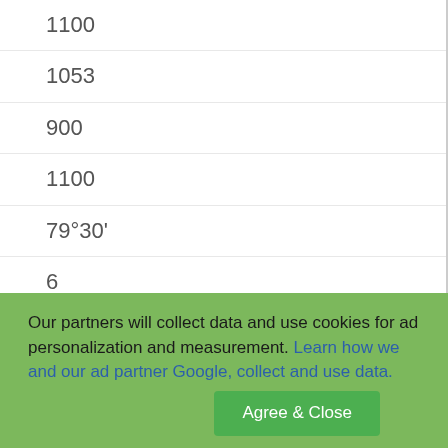1100
1053
900
1100
79°30'
6
26
2200
AVE
8TH ST
Our partners will collect data and use cookies for ad personalization and measurement. Learn how we and our ad partner Google, collect and use data. Agree & Close